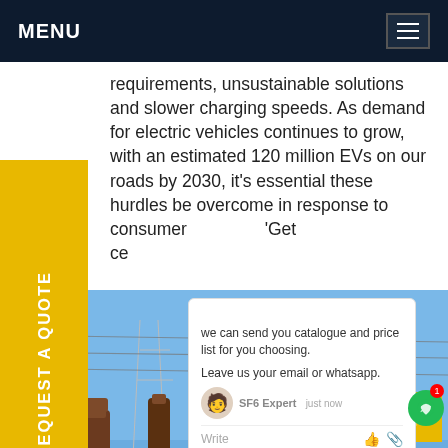MENU
requirements, unsustainable solutions and slower charging speeds. As demand for electric vehicles continues to grow, with an estimated 120 million EVs on our roads by 2030, it's essential these hurdles be overcome in response to consumer... 'Get' ...ce
[Figure (photo): Electrical substation with high-voltage transmission equipment, insulators, conductors, and steel lattice towers under a blue sky]
we can send you catalogue and price list for you choosing.
Leave us your email or whatsapp.
SF6 Expert   just now
Write